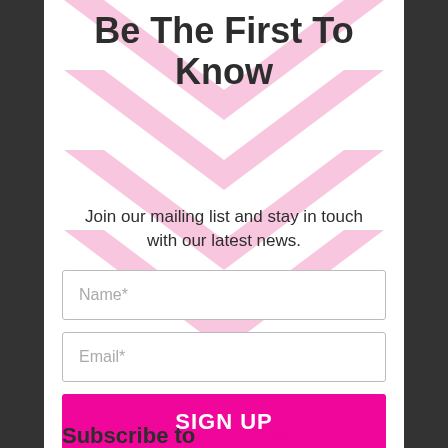[Figure (illustration): Pink chevron/arrow pattern pointing upward, used as decorative background]
Be The First To Know
Join our mailing list and stay in touch with our latest news.
Name*
Email*
SIGN UP
Subscribe to our newsletter